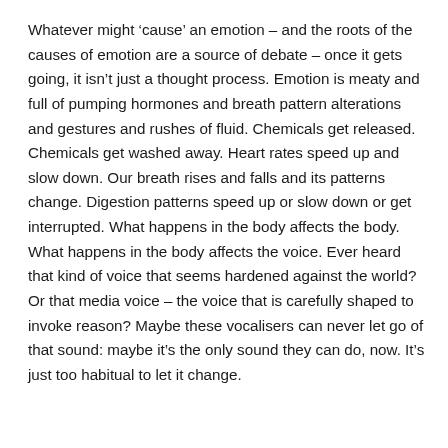Whatever might ‘cause’ an emotion – and the roots of the causes of emotion are a source of debate – once it gets going, it isn’t just a thought process. Emotion is meaty and full of pumping hormones and breath pattern alterations and gestures and rushes of fluid. Chemicals get released. Chemicals get washed away. Heart rates speed up and slow down. Our breath rises and falls and its patterns change. Digestion patterns speed up or slow down or get interrupted. What happens in the body affects the body. What happens in the body affects the voice. Ever heard that kind of voice that seems hardened against the world? Or that media voice – the voice that is carefully shaped to invoke reason? Maybe these vocalisers can never let go of that sound: maybe it’s the only sound they can do, now. It’s just too habitual to let it change.